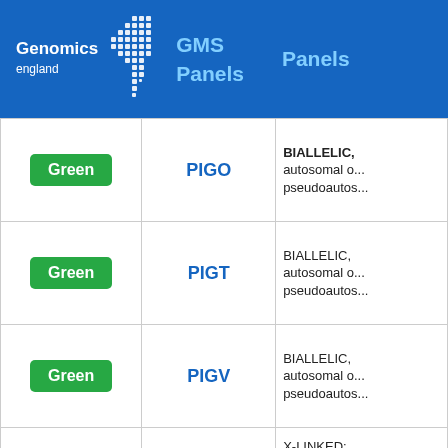Genomics England GMS Panels
| Rating | Gene | Inheritance |
| --- | --- | --- |
| Green | PIGO | BIALLELIC, autosomal or pseudoautosomal |
| Green | PIGT | BIALLELIC, autosomal or pseudoautosomal |
| Green | PIGV | BIALLELIC, autosomal or pseudoautosomal |
| Green | PIH1D3 | X-LINKED: hemizygous mutation in males, biallelic mutations in females |